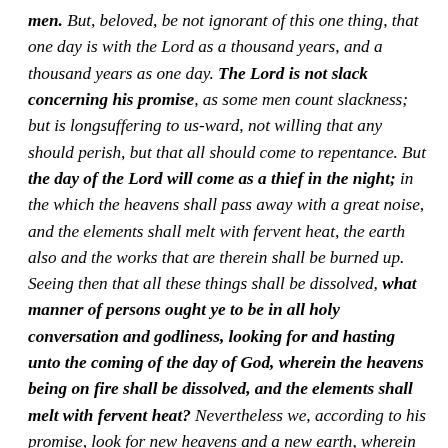men. But, beloved, be not ignorant of this one thing, that one day is with the Lord as a thousand years, and a thousand years as one day. The Lord is not slack concerning his promise, as some men count slackness; but is longsuffering to us-ward, not willing that any should perish, but that all should come to repentance. But the day of the Lord will come as a thief in the night; in the which the heavens shall pass away with a great noise, and the elements shall melt with fervent heat, the earth also and the works that are therein shall be burned up. Seeing then that all these things shall be dissolved, what manner of persons ought ye to be in all holy conversation and godliness, looking for and hasting unto the coming of the day of God, wherein the heavens being on fire shall be dissolved, and the elements shall melt with fervent heat? Nevertheless we, according to his promise, look for new heavens and a new earth, wherein dwelleth righteousness. Wherefore, beloved